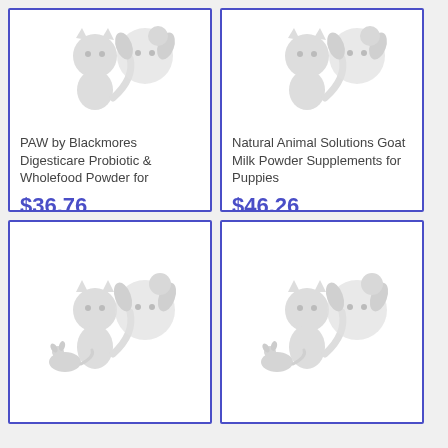[Figure (illustration): Pet product placeholder icon showing a cat and dog silhouette in light gray]
PAW by Blackmores Digesticare Probiotic & Wholefood Powder for
$36.76
20% OFF
VIEW PRODUCT
[Figure (illustration): Pet product placeholder icon showing a cat and dog silhouette in light gray]
Natural Animal Solutions Goat Milk Powder Supplements for Puppies
$46.26
VIEW PRODUCT
[Figure (illustration): Pet product placeholder icon showing a cat and dog silhouette in light gray]
[Figure (illustration): Pet product placeholder icon showing a cat and dog silhouette in light gray]